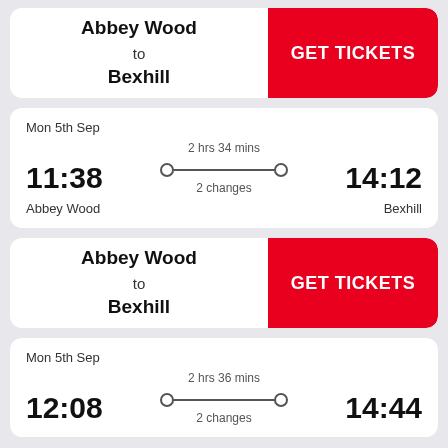Abbey Wood to Bexhill
GET TICKETS
Mon 5th Sep
2 hrs 34 mins
11:38
14:12
2 changes
Abbey Wood
Bexhill
Abbey Wood to Bexhill
GET TICKETS
Mon 5th Sep
2 hrs 36 mins
12:08
14:44
2 changes